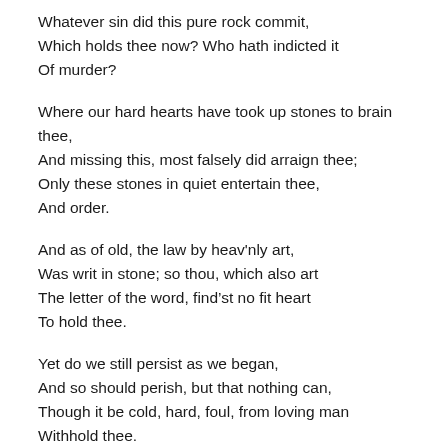Whatever sin did this pure rock commit,
Which holds thee now? Who hath indicted it
Of murder?

Where our hard hearts have took up stones to brain thee,
And missing this, most falsely did arraign thee;
Only these stones in quiet entertain thee,
And order.

And as of old, the law by heav'nly art,
Was writ in stone; so thou, which also art
The letter of the word, find'st no fit heart
To hold thee.

Yet do we still persist as we began,
And so should perish, but that nothing can,
Though it be cold, hard, foul, from loving man
Withhold thee.